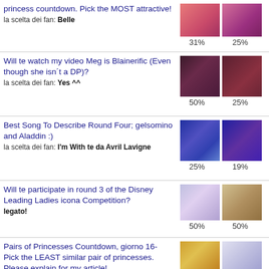princess countdown. Pick the MOST attractive!
Will te watch my video Meg is Blainerific (Even though she isn't a DP)?
Best Song To Describe Round Four; gelsomino and Aladdin :)
Will te participate in round 3 of the Disney Leading Ladies icona Competition?
Pairs of Princesses Countdown, giorno 16- Pick the LEAST similar pair of princesses. Please explain for my article!